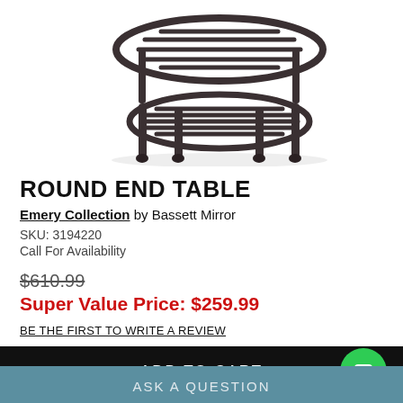[Figure (photo): Photo of a round metal end table with dark bronze/black finish, showing slatted lower shelf and ornate legs, photographed from a slight angle above.]
ROUND END TABLE
Emery Collection by Bassett Mirror
SKU: 3194220
Call For Availability
$610.99
Super Value Price: $259.99
BE THE FIRST TO WRITE A REVIEW
ADD TO CART
ASK A QUESTION